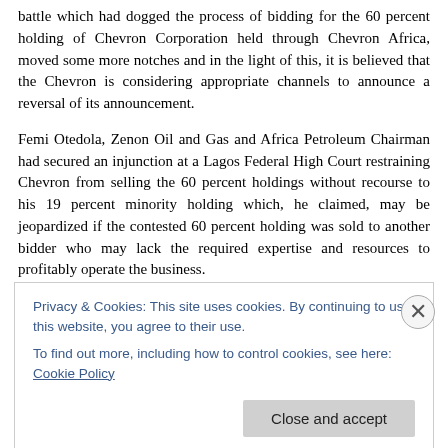battle which had dogged the process of bidding for the 60 percent holding of Chevron Corporation held through Chevron Africa, moved some more notches and in the light of this, it is believed that the Chevron is considering appropriate channels to announce a reversal of its announcement.
Femi Otedola, Zenon Oil and Gas and Africa Petroleum Chairman had secured an injunction at a Lagos Federal High Court restraining Chevron from selling the 60 percent holdings without recourse to his 19 percent minority holding which, he claimed, may be jeopardized if the contested 60 percent holding was sold to another bidder who may lack the required expertise and resources to profitably operate the business.
Despite the injunction, Chevron parent office in San Ramon in the United States of America had gone ahead to announce the agreement to sell to Dantata's company in defiance of the court order. Industry
Privacy & Cookies: This site uses cookies. By continuing to use this website, you agree to their use.
To find out more, including how to control cookies, see here: Cookie Policy